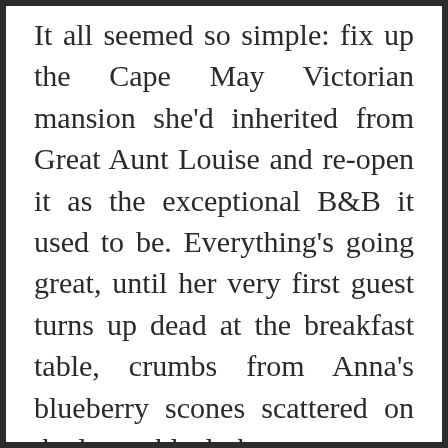It all seemed so simple: fix up the Cape May Victorian mansion she'd inherited from Great Aunt Louise and re-open it as the exceptional B&B it used to be. Everything's going great, until her very first guest turns up dead at the breakfast table, crumbs from Anna's blueberry scones scattered on the lace tablecloth.